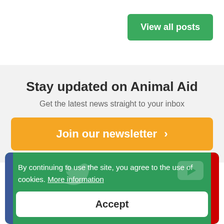View all posts
Stay updated on Animal Aid
Get the latest news straight to your inbox
Join our newsletter >
By continuing to use the site, you agree to the use of cookies. More information
Accept